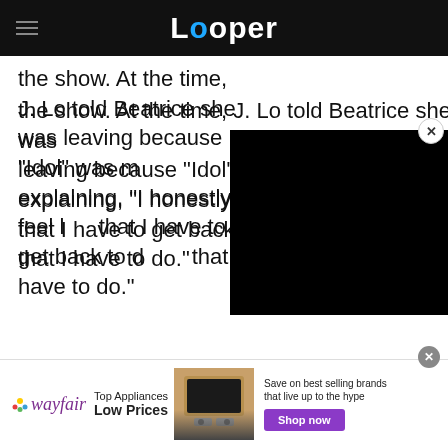Looper
the show. At the time, J. Lo told Beatrice she was leaving because "Idol" was more, explaining, "I honestly feel like that I have to get back to doing things that I have to do."
[Figure (other): Black video player overlay covering right portion of article text]
[Figure (other): Wayfair advertisement banner: Top Appliances Low Prices, Save on best selling brands that live up to the hype, Shop now button]